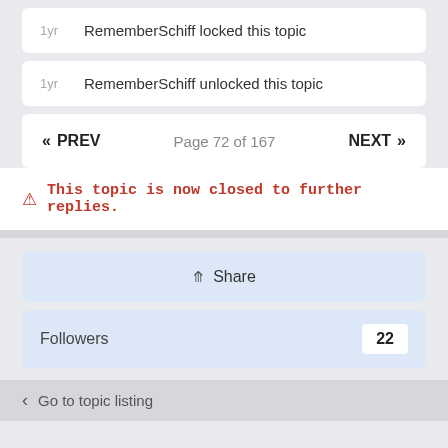1yr  RememberSchiff locked this topic
1yr  RememberSchiff unlocked this topic
« PREV   Page 72 of 167   NEXT »
⚠ This topic is now closed to further replies.
Share
Followers  22
Go to topic listing